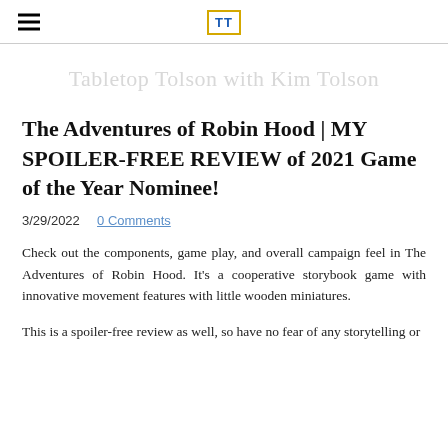TT (Tabletop Tolson logo)
Tabletop Tolson with Kim Tolson
The Adventures of Robin Hood | MY SPOILER-FREE REVIEW of 2021 Game of the Year Nominee!
3/29/2022   0 Comments
Check out the components, game play, and overall campaign feel in The Adventures of Robin Hood. It's a cooperative storybook game with innovative movement features with little wooden miniatures.
This is a spoiler-free review as well, so have no fear of any storytelling or